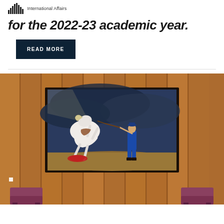International Affairs
for the 2022-23 academic year.
READ MORE
[Figure (photo): A painting hanging on a wood-paneled wall showing a white horse rearing up while a man in blue uniform holds a rope/whip in a dramatic scene with dark stormy background. Two purple/mauve chairs visible at the bottom of the frame.]